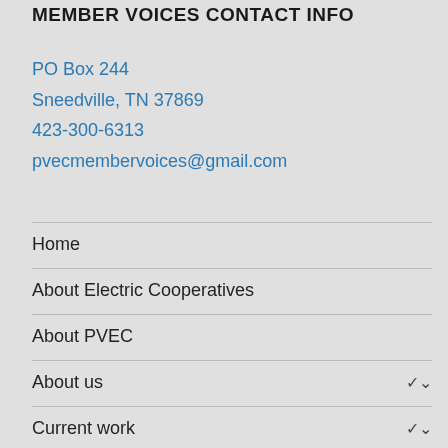MEMBER VOICES CONTACT INFO
PO Box 244
Sneedville, TN 37869
423-300-6313
pvecmembervoices@gmail.com
Home
About Electric Cooperatives
About PVEC
About us
Current work